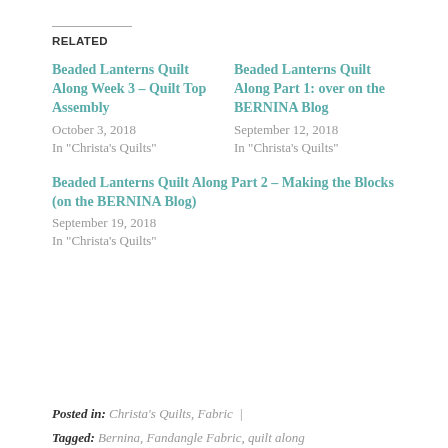RELATED
Beaded Lanterns Quilt Along Week 3 – Quilt Top Assembly
October 3, 2018
In "Christa's Quilts"
Beaded Lanterns Quilt Along Part 1: over on the BERNINA Blog
September 12, 2018
In "Christa's Quilts"
Beaded Lanterns Quilt Along Part 2 – Making the Blocks (on the BERNINA Blog)
September 19, 2018
In "Christa's Quilts"
Posted in: Christa's Quilts, Fabric  |  Tagged: Bernina, Fandangle Fabric, quilt along